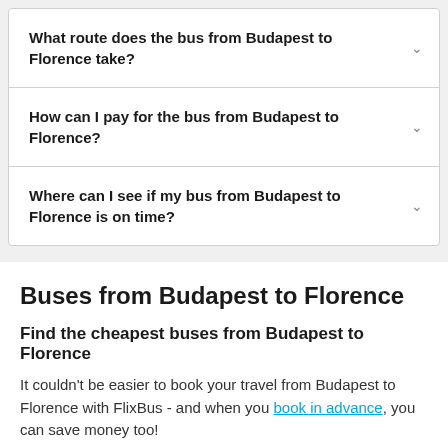What route does the bus from Budapest to Florence take?
How can I pay for the bus from Budapest to Florence?
Where can I see if my bus from Budapest to Florence is on time?
Buses from Budapest to Florence
Find the cheapest buses from Budapest to Florence
It couldn't be easier to book your travel from Budapest to Florence with FlixBus - and when you book in advance, you can save money too!
FlixBus operates in 38 countries connecting 5000